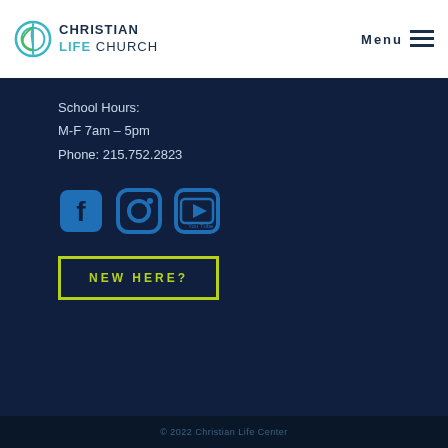[Figure (logo): Christian Life Church logo with circular icon and text]
Menu
School Hours:
M-F 7am – 5pm
Phone: 215.752.2823
[Figure (infographic): Social media icons row: Facebook, Instagram, YouTube]
New Here?
© 2022 Christian Life Center